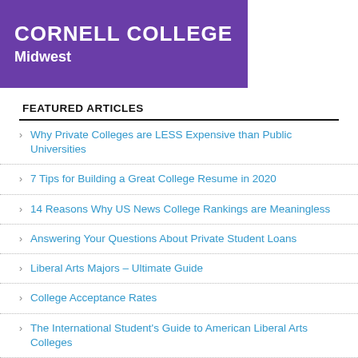[Figure (photo): Purple banner image with text CORNELL COLLEGE Midwest]
FEATURED ARTICLES
Why Private Colleges are LESS Expensive than Public Universities
7 Tips for Building a Great College Resume in 2020
14 Reasons Why US News College Rankings are Meaningless
Answering Your Questions About Private Student Loans
Liberal Arts Majors – Ultimate Guide
College Acceptance Rates
The International Student's Guide to American Liberal Arts Colleges